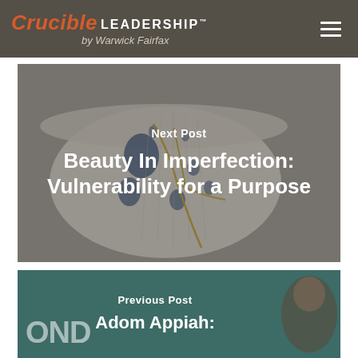Crucible LEADERSHIP™ by Warwick Fairfax
[Figure (photo): Next post card with a Kintsugi ceramic bowl image (blue and white bowl with gold repair lines on grey background). Text overlay reads 'Next Post' and 'Beauty In Imperfection: Vulnerability for a Purpose']
Next Post
Beauty In Imperfection: Vulnerability for a Purpose
[Figure (photo): Previous post card with teal/dark green background showing partial text 'OND' and a portrait of a person (Adom Appiah). Text overlay reads 'Previous Post' and 'Adom Appiah:']
Previous Post
Adom Appiah: